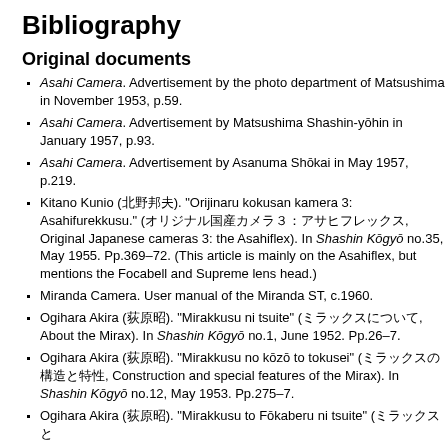Bibliography
Original documents
Asahi Camera. Advertisement by the photo department of Matsushima in November 1953, p.59.
Asahi Camera. Advertisement by Matsushima Shashin-yōhin in January 1957, p.93.
Asahi Camera. Advertisement by Asanuma Shōkai in May 1957, p.219.
Kitano Kunio (北野邦夫). "Orijinaru kokusan kamera 3: Asahifurekkusu." (オリジナル国産カメラ３：アサヒフレックス, Original Japanese cameras 3: the Asahiflex). In Shashin Kōgyō no.35, May 1955. Pp.369–72. (This article is mainly on the Asahiflex, but mentions the Focabell and Supreme lens head.)
Miranda Camera. User manual of the Miranda ST, c.1960.
Ogihara Akira (荻原昭). "Mirakkusu ni tsuite" (ミラックスについて, About the Mirax). In Shashin Kōgyō no.1, June 1952. Pp.26–7.
Ogihara Akira (荻原昭). "Mirakkusu no kōzō to tokusei" (ミラックスの構造と特性, Construction and special features of the Mirax). In Shashin Kōgyō no.12, May 1953. Pp.275–7.
Ogihara Akira (荻原昭). "Mirakkusu to Fōkaberu ni tsuite" (ミラックスと…